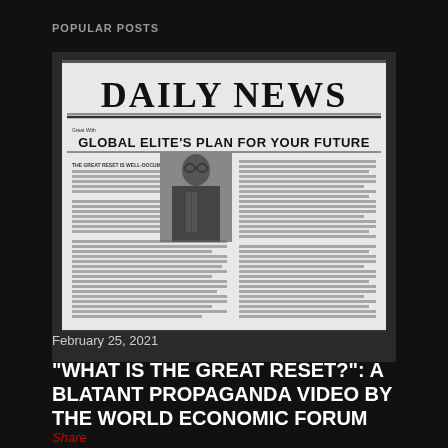POPULAR POSTS
[Figure (photo): Black and white image of a newspaper front page with headline 'DAILY NEWS' and subheadline 'GLOBAL ELITE'S PLAN FOR YOUR FUTURE', with a photo of an older man in a suit, and columns of text. The newspaper is shown on a printing press background.]
February 25, 2021
“WHAT IS THE GREAT RESET?”: A BLATANT PROPAGANDA VIDEO BY THE WORLD ECONOMIC FORUM
Share